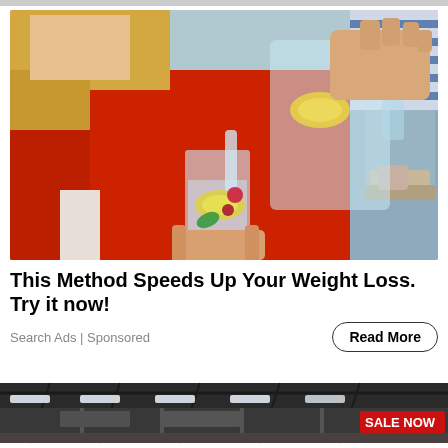[Figure (photo): A woman in a red sweater pouring water with lemon slices from a glass pitcher into a tall glass, with a blurry outdoor terrace background.]
This Method Speeds Up Your Weight Loss. Try it now!
Search Ads | Sponsored
[Figure (photo): Interior of a large retail store or warehouse with a red SALE NOW banner visible in the upper right corner.]